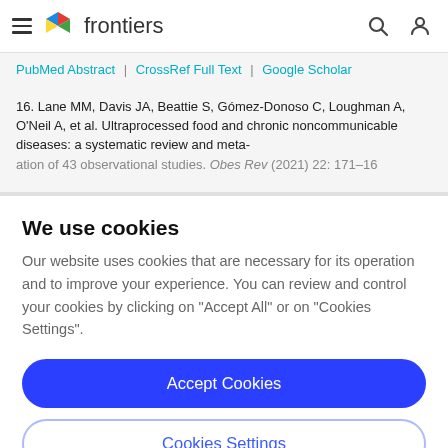frontiers
PubMed Abstract | CrossRef Full Text | Google Scholar
16. Lane MM, Davis JA, Beattie S, Gómez-Donoso C, Loughman A, O'Neil A, et al. Ultraprocessed food and chronic noncommunicable diseases: a systematic review and meta-...
We use cookies
Our website uses cookies that are necessary for its operation and to improve your experience. You can review and control your cookies by clicking on "Accept All" or on "Cookies Settings".
Accept Cookies
Cookies Settings